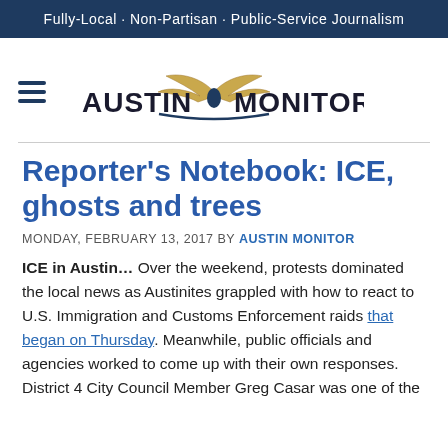Fully-Local · Non-Partisan · Public-Service Journalism
[Figure (logo): Austin Monitor logo with winged emblem and hamburger menu icon]
Reporter's Notebook: ICE, ghosts and trees
MONDAY, FEBRUARY 13, 2017 BY AUSTIN MONITOR
ICE in Austin… Over the weekend, protests dominated the local news as Austinites grappled with how to react to U.S. Immigration and Customs Enforcement raids that began on Thursday. Meanwhile, public officials and agencies worked to come up with their own responses. District 4 City Council Member Greg Casar was one of the